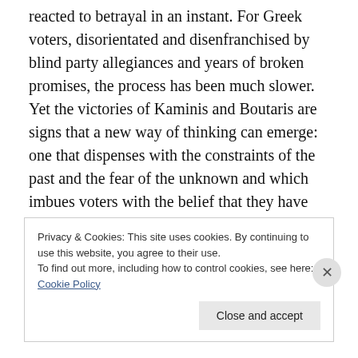reacted to betrayal in an instant. For Greek voters, disorientated and disenfranchised by blind party allegiances and years of broken promises, the process has been much slower. Yet the victories of Kaminis and Boutaris are signs that a new way of thinking can emerge: one that dispenses with the constraints of the past and the fear of the unknown and which imbues voters with the belief that they have the power to punish the layabouts, the liars and the crooks. So, the British students and the Greek people face the same challenge: to find a way of soaking up this moment of enlightment and harnessing the
Privacy & Cookies: This site uses cookies. By continuing to use this website, you agree to their use.
To find out more, including how to control cookies, see here: Cookie Policy
Close and accept